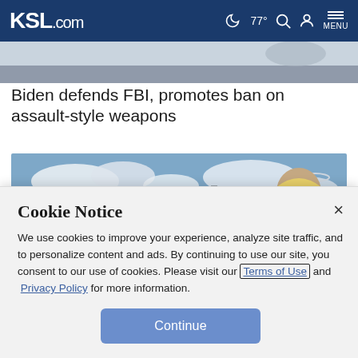KSL.com  77° MENU
Biden defends FBI, promotes ban on assault-style weapons
[Figure (photo): Outdoor construction/industrial site with earthen mounds, silos, wind turbine in background; man in hard hat and sunglasses on right side]
Cookie Notice
We use cookies to improve your experience, analyze site traffic, and to personalize content and ads. By continuing to use our site, you consent to our use of cookies. Please visit our Terms of Use and Privacy Policy for more information.
Continue